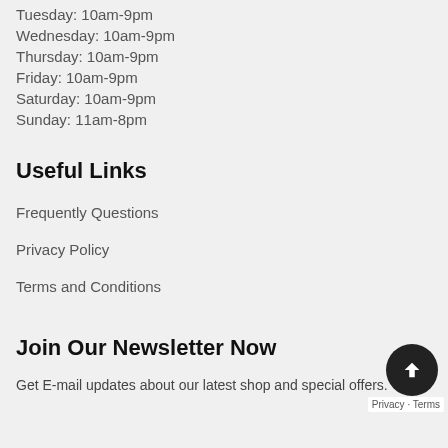Tuesday: 10am-9pm
Wednesday: 10am-9pm
Thursday: 10am-9pm
Friday: 10am-9pm
Saturday: 10am-9pm
Sunday: 11am-8pm
Useful Links
Frequently Questions
Privacy Policy
Terms and Conditions
Join Our Newsletter Now
Get E-mail updates about our latest shop and special offers.